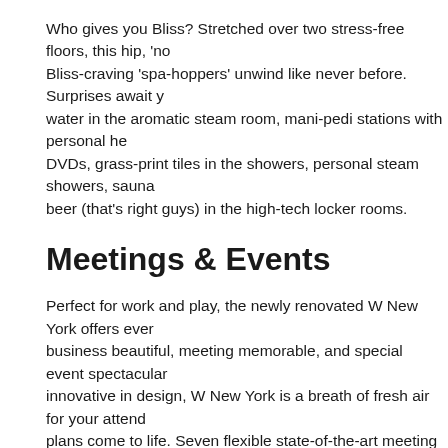Who gives you Bliss? Stretched over two stress-free floors, this hip, 'no Bliss-craving 'spa-hoppers' unwind like never before. Surprises await y water in the aromatic steam room, mani-pedi stations with personal he DVDs, grass-print tiles in the showers, personal steam showers, sauna beer (that's right guys) in the high-tech locker rooms.
Meetings & Events
Perfect for work and play, the newly renovated W New York offers ever business beautiful, meeting memorable, and special event spectacular innovative in design, W New York is a breath of fresh air for your attend plans come to life. Seven flexible state-of-the-art meeting rooms totalin to your every need. Conveniently located just off the Living Room on th area allows you to flow freely among rooms with various pre-function a square foot Forest Ballroom is your ticket to a spectacular event to rem